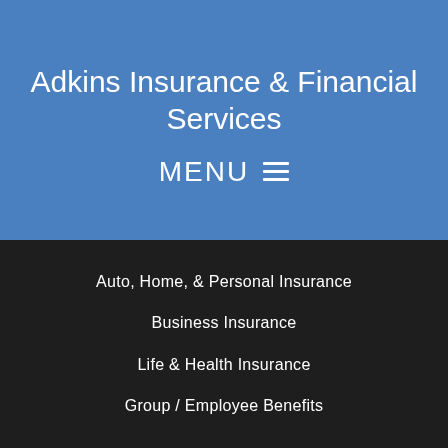Adkins Insurance & Financial Services
MENU ≡
Auto, Home, & Personal Insurance
Business Insurance
Life & Health Insurance
Group / Employee Benefits